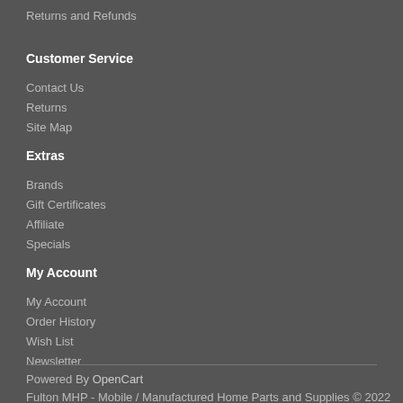Returns and Refunds
Customer Service
Contact Us
Returns
Site Map
Extras
Brands
Gift Certificates
Affiliate
Specials
My Account
My Account
Order History
Wish List
Newsletter
Powered By OpenCart
Fulton MHP - Mobile / Manufactured Home Parts and Supplies © 2022